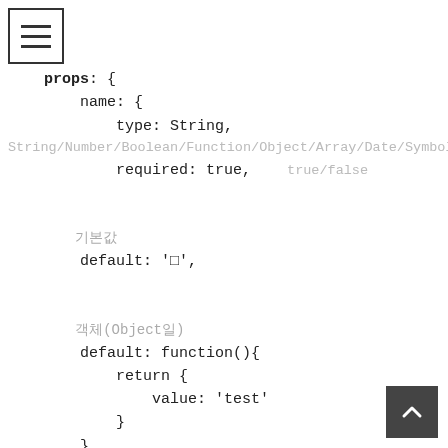[Figure (other): Hamburger menu icon (three horizontal lines) in a bordered square, top-left corner]
props: {
    name: {
        type: String,
String/Number/Boolean/Function/Object/Array/Date/Symbol
        required: true,    true/false

        // 기본값
        default: '□',

        // 객체(Object일)
        default: function(){
            return {
                value: 'test'
            }
        }

        // 검증하기
        validator: □
[Figure (other): Scroll-to-top button (dark square with upward chevron arrow), bottom-right corner]